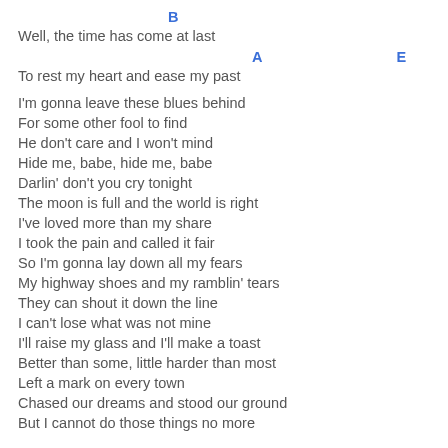B
Well, the time has come at last
A                    E
To rest my heart and ease my past
I'm gonna leave these blues behind
For some other fool to find
He don't care and I won't mind
Hide me, babe, hide me, babe
Darlin' don't you cry tonight
The moon is full and the world is right
I've loved more than my share
I took the pain and called it fair
So I'm gonna lay down all my fears
My highway shoes and my ramblin' tears
They can shout it down the line
I can't lose what was not mine
I'll raise my glass and I'll make a toast
Better than some, little harder than most
Left a mark on every town
Chased our dreams and stood our ground
But I cannot do those things no more